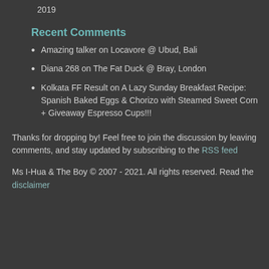2019
Recent Comments
Amazing talker on Locavore @ Ubud, Bali
Diana 268 on The Fat Duck @ Bray, London
Kolkata FF Result on A Lazy Sunday Breakfast Recipe: Spanish Baked Eggs & Chorizo with Steamed Sweet Corn + Giveaway Espresso Cups!!!
Thanks for dropping by! Feel free to join the discussion by leaving comments, and stay updated by subscribing to the RSS feed
Ms I-Hua & The Boy © 2007 - 2021. All rights reserved. Read the disclaimer